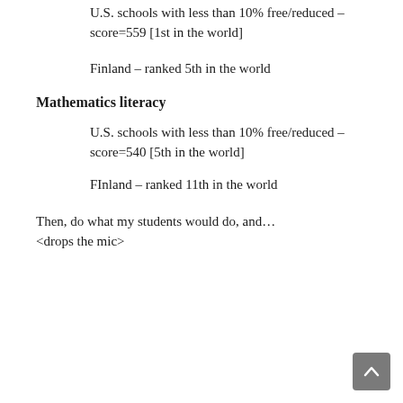U.S. schools with less than 10% free/reduced – score=559 [1st in the world]
Finland – ranked 5th in the world
Mathematics literacy
U.S. schools with less than 10% free/reduced – score=540 [5th in the world]
FInland – ranked 11th in the world
Then, do what my students would do, and... <drops the mic>